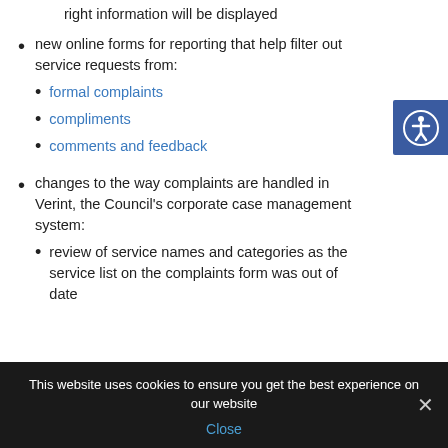right information will be displayed
new online forms for reporting that help filter out service requests from:
formal complaints
compliments
comments and feedback
changes to the way complaints are handled in Verint, the Council's corporate case management system:
review of service names and categories as the service list on the complaints form was out of date
This website uses cookies to ensure you get the best experience on our website
Close